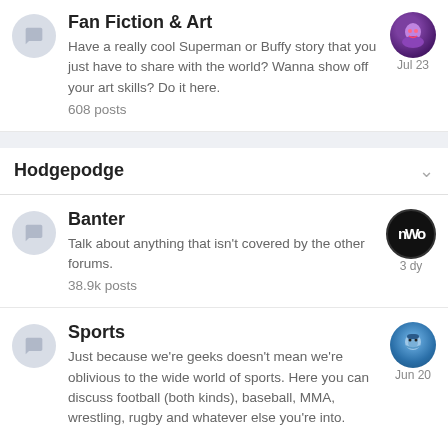Fan Fiction & Art
Have a really cool Superman or Buffy story that you just have to share with the world? Wanna show off your art skills? Do it here.
608 posts
Hodgepodge
Banter
Talk about anything that isn't covered by the other forums.
38.9k posts
Sports
Just because we're geeks doesn't mean we're oblivious to the wide world of sports. Here you can discuss football (both kinds), baseball, MMA, wrestling, rugby and whatever else you're into.